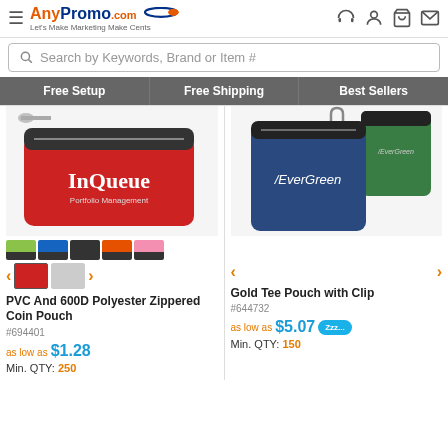[Figure (logo): AnyPromo.com logo with tagline 'Let's Make Marketing Make Cents']
Search by Keywords, Brand or Item #
Free Setup   Free Shipping   Best Sellers
[Figure (photo): PVC And 600D Polyester Zippered Coin Pouch in red with InQueue Portfolio Management imprint, shown with color swatches in lime, blue, black, orange, pink]
PVC And 600D Polyester Zippered Coin Pouch
#694401
as low as $1.28
Min. QTY: 250
[Figure (photo): Gold Tee Pouch with Clip in navy blue with Evergreen imprint, also shown in green]
Gold Tee Pouch with Clip
#644732
as low as $5.07
Min. QTY: 150